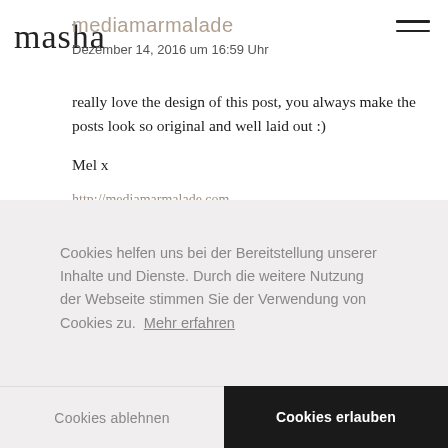mediamarmalade
Dezember 14, 2016 um 16:59 Uhr
really love the design of this post, you always make the posts look so original and well laid out :)

Mel x
http://mediamarmalade.com
Cookies helfen uns bei der Bereitstellung unserer Inhalte und Dienste. Durch die weitere Nutzung der Webseite stimmen Sie der Verwendung von Cookies zu.  Mehr erfahren
Cookies ablehnen
Cookies erlauben